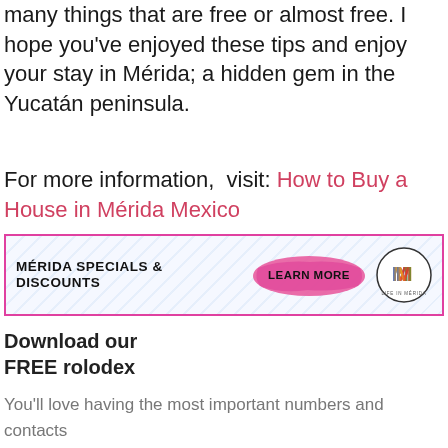many things that are free or almost free. I hope you've enjoyed these tips and enjoy your stay in Mérida; a hidden gem in the Yucatán peninsula.
For more information,  visit: How to Buy a House in Mérida Mexico
[Figure (infographic): Advertisement banner with diagonal stripe background, pink border. Left: bold text 'MÉRIDA SPECIALS & DISCOUNTS'. Center: pink brush-stroke button with 'LEARN MORE'. Right: circular 'Life in Mérida' logo with colorful M.]
Download our FREE rolodex
You'll love having the most important numbers and contacts all in one place for your next trip to Mérida.